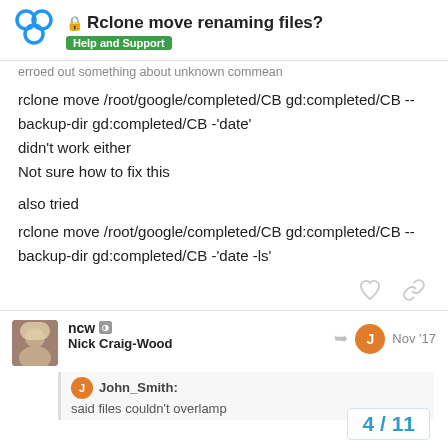Rclone move renaming files? | Help and Support
erroed out something about unknown commean
rclone move /root/google/completed/CB gd:completed/CB --backup-dir gd:completed/CB -'date'
didn't work either
Not sure how to fix this
also tried
rclone move /root/google/completed/CB gd:completed/CB --backup-dir gd:completed/CB -'date -ls'
ncw  Nick Craig-Wood  Nov '17
John_Smith:
said files couldn't overlamp
4 / 11